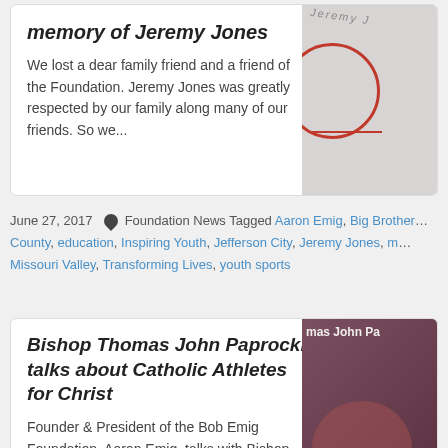memory of Jeremy Jones
We lost a dear family friend and a friend of the Foundation. Jeremy Jones was greatly respected by our family along many of our friends. So we...
June 27, 2017   Foundation News Tagged Aaron Emig, Big Brothers County, education, Inspiring Youth, Jefferson City, Jeremy Jones, Missouri Valley, Transforming Lives, youth sports
Bishop Thomas John Paprocki talks about Catholic Athletes for Christ
Founder & President of the Bob Emig Foundation, Aaron Emig, talks with Bishop Thomas John